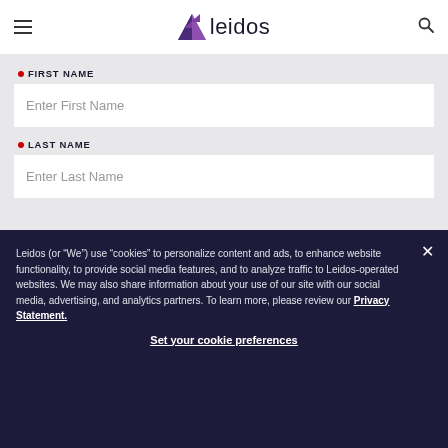Leidos
FIRST NAME
Enter First Name
LAST NAME
Enter Last Name
Leidos (or “We”) use “cookies” to personalize content and ads, to enhance website functionality, to provide social media features, and to analyze traffic to Leidos-operated websites. We may also share information about your use of our site with our social media, advertising, and analytics partners. To learn more, please review our Privacy Statement.
Set your cookie preferences